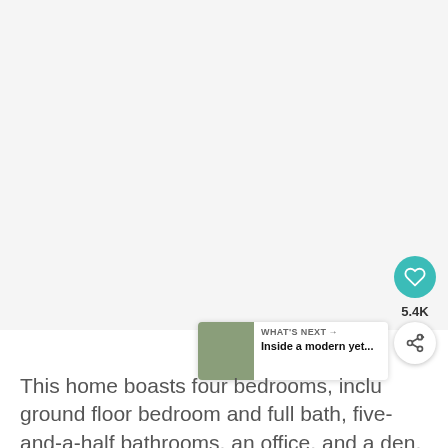[Figure (photo): Large light gray image placeholder area for a home/real estate photo]
[Figure (infographic): Circular teal like/heart button with count 5.4K and a share button below]
[Figure (screenshot): WHAT'S NEXT panel showing thumbnail of a house and text 'Inside a modern yet...']
This home boasts four bedrooms, inclu ground floor bedroom and full bath, five-and-a-half bathrooms, an office, and a den, formal dining area